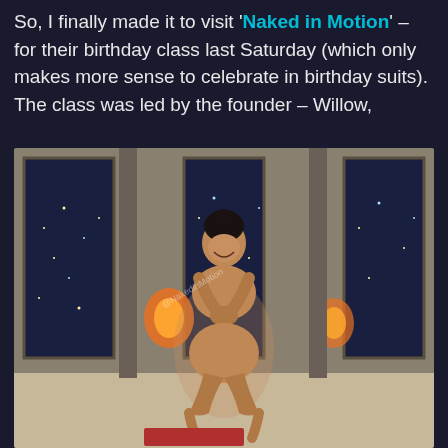So, I finally made it to visit 'Naked in Motion' – for their birthday class last Saturday (which only makes more sense to celebrate in birthday suits). The class was led by the founder – Willow,
[Figure (photo): A person in a yoga pose in a dimly lit room with large windows showing a city at night, warm orange lighting in background, a red yoga mat visible at the bottom.]